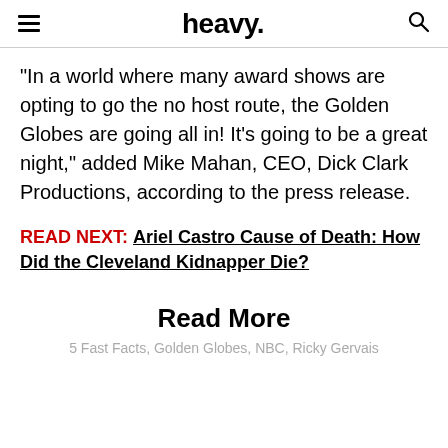heavy.
“In a world where many award shows are opting to go the no host route, the Golden Globes are going all in! It’s going to be a great night,” added Mike Mahan, CEO, Dick Clark Productions, according to the press release.
READ NEXT: Ariel Castro Cause of Death: How Did the Cleveland Kidnapper Die?
Read More
5 Fast Facts, Golden Globes, NBC, Ricky Gervais